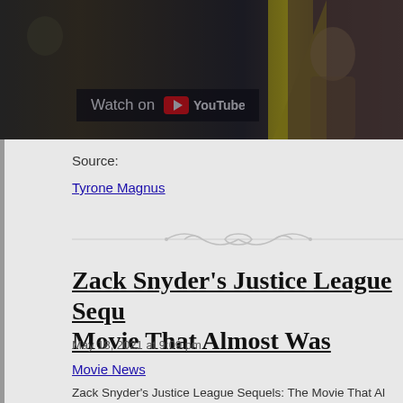[Figure (screenshot): YouTube video thumbnail showing animated characters with dark background and yellow stripe accent. A 'Watch on YouTube' badge is visible.]
Source:
Tyrone Magnus
[Figure (illustration): Decorative curling ornamental divider line]
Zack Snyder's Justice League Sequels: The Movie That Almost Was
May 18, 2021 at 9:09 pm
Movie News
Zack Snyder's Justice League Sequels: The Movie That Al…
May 18, 2021 by: Chris Bumbray